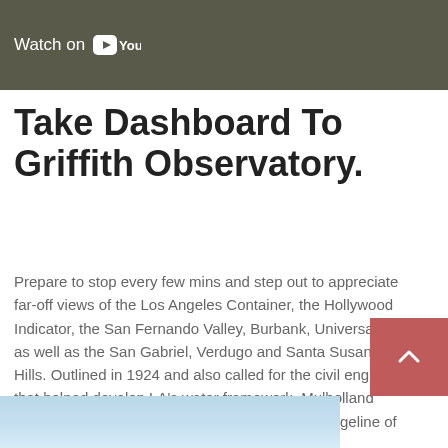[Figure (screenshot): YouTube video thumbnail banner with 'Watch on YouTube' text and YouTube play button icon on dark olive/grey background]
Take Dashboard To Griffith Observatory.
Prepare to stop every few mins and step out to appreciate far-off views of the Los Angeles Container, the Hollywood Indicator, the San Fernando Valley, Burbank, Universal City as well as the San Gabriel, Verdugo and Santa Susana Hills. Outlined in 1924 and also called for the civil engineer that helped develop LA's water framework, Mulholland Drive is a winding two-lane roadway along the ridgeline of the eastern Santa Monica Hills.
[Figure (photo): Partial view of a sky/outdoor photo at the bottom of the page]